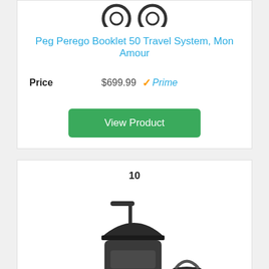[Figure (photo): Partial product image of a stroller/travel system at the top of the page (cropped)]
Peg Perego Booklet 50 Travel System, Mon Amour
Price $699.99 Prime
View Product
10
[Figure (photo): Baby jogger city mini travel system stroller with infant car seat, dark charcoal/black color]